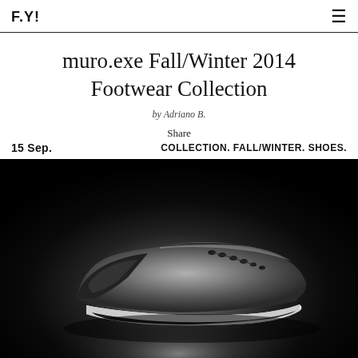F.Y!
muro.exe Fall/Winter 2014 Footwear Collection
by Adriano B.
Share
15 Sep.   COLLECTION. FALL/WINTER. SHOES.
[Figure (photo): Black and white studio photograph of a dark leather dress shoe/sneaker hybrid with white sole, spotlit against a black background]